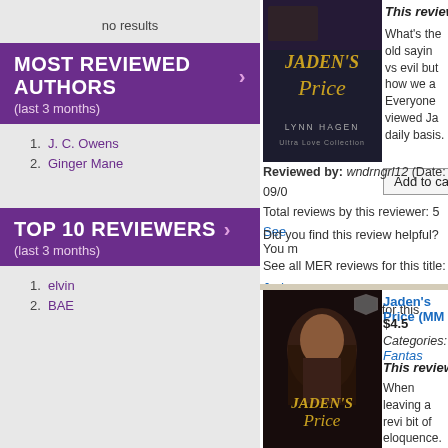no results
MOST REVIEWED AUTHORS > (last 3 months)
1. J. C. Owens
2. Ginger Mane
TOP 10 REVIEWERS > (last 3 months)
1. elvin
2. BAE
[Figure (illustration): Book cover for Jaden's Price by Lynn Hagen - dark moody cover with title text]
This reviewer's ra
What's the old sayin vs evil but how we a Everyone viewed Ja daily basis.
Add to cart
Reviewed by: wndrngrl12 (Date: 09/0 Total reviews by this reviewer: 5 See
Did you find this review helpful? You m
See all MER reviews for this title: Jad See all MER reviews for this author: L
[Figure (illustration): Book cover for Jaden's Price (MM) - dark moody cover showing a man with beard]
Jaden's Price (MM
$4.5
Categories: Fantas
This reviewer's ra
When leaving a revi bit of eloquence. Thi YEARS for this - an